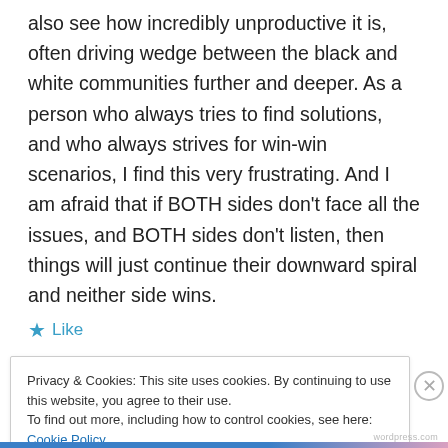also see how incredibly unproductive it is, often driving wedge between the black and white communities further and deeper. As a person who always tries to find solutions, and who always strives for win-win scenarios, I find this very frustrating. And I am afraid that if BOTH sides don't face all the issues, and BOTH sides don't listen, then things will just continue their downward spiral and neither side wins.
★ Like
Privacy & Cookies: This site uses cookies. By continuing to use this website, you agree to their use.
To find out more, including how to control cookies, see here: Cookie Policy
Close and accept